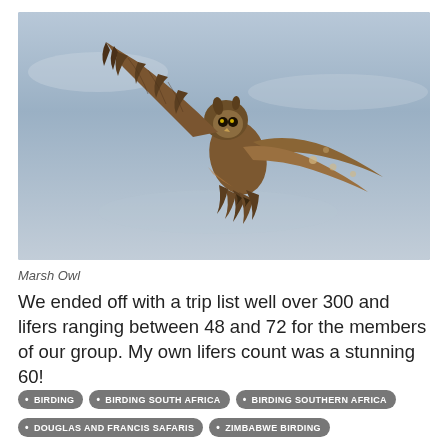[Figure (photo): A Marsh Owl in flight photographed from below against a blue-grey sky, wings spread showing brown, russet and cream patterned feathers, talons tucked in.]
Marsh Owl
We ended off with a trip list well over 300 and lifers ranging between 48 and 72 for the members of our group. My own lifers count was a stunning 60!
BIRDING
BIRDING SOUTH AFRICA
BIRDING SOUTHERN AFRICA
DOUGLAS AND FRANCIS SAFARIS
ZIMBABWE BIRDING